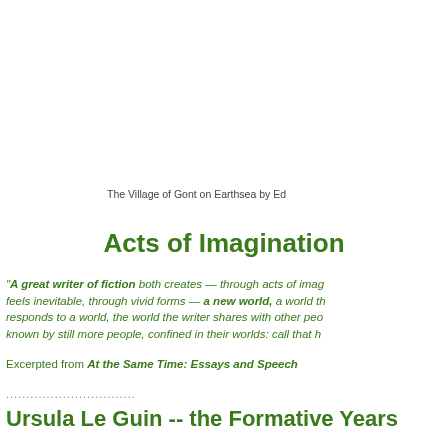The Village of Gont on Earthsea by Ed...
Acts of Imagination
"A great writer of fiction both creates — through acts of imagination — a world that feels inevitable, through vivid forms — a new world, a world that responds to a world, the world the writer shares with other people, known by still more people, confined in their worlds: call that h...
Excerpted from At the Same Time: Essays and Speech...
Ursula Le Guin  -- the Formative Years